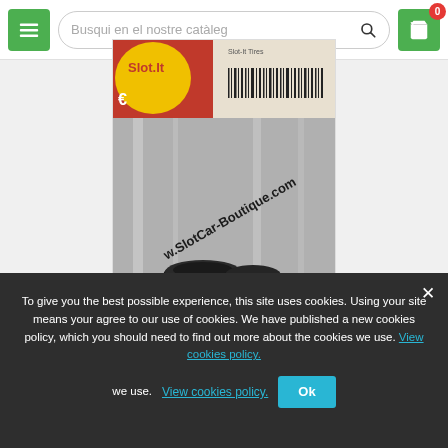Busqui en el nostre catàleg
[Figure (photo): Product photo showing slot car tires in a plastic bag with SlotCar-Boutique.com branding and a barcode label on top]
To give you the best possible experience, this site uses cookies. Using your site means your agree to our use of cookies. We have published a new cookies policy, which you should need to find out more about the cookies we use. View cookies policy.